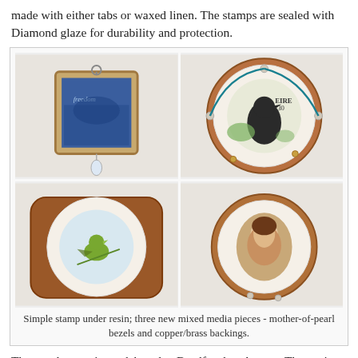made with either tabs or waxed linen. The stamps are sealed with Diamond glaze for durability and protection.
[Figure (photo): Four jewelry pieces: top-left is a square pendant with a blue stamp reading 'freedom' and a crystal drop; top-right is a large circular piece with copper/brass backing and mother-of-pearl bezel containing a bird stamp reading 'EIRE 30' with teal lacing; bottom-left is a square-backed circular piece with a green bird on white background; bottom-right is a circular piece with copper backing containing a portrait of a woman in mother-of-pearl bezel.]
Simple stamp under resin; three new mixed media pieces - mother-of-pearl bezels and copper/brass backings.
These polymer pieces debuted at Beadfest last August. The settings are molds made from vintage stampings. Resin seals and secures the stamp image. The polymer color